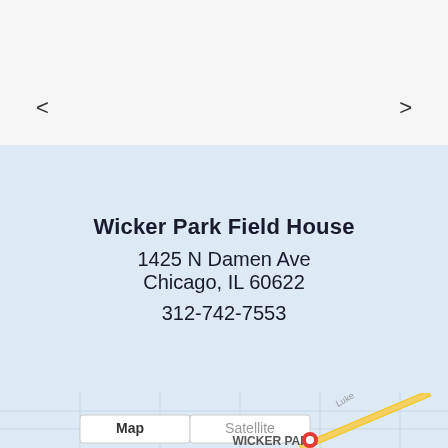<
>
Wicker Park Field House
1425 N Damen Ave
Chicago, IL 60622
312-742-7553
[Figure (map): Google Maps embed showing Wicker Park area in Chicago with Map/Satellite toggle buttons visible. Shows street grid, route 90, and a location pin in Wicker Park. Map and Satellite toggle buttons at bottom left.]